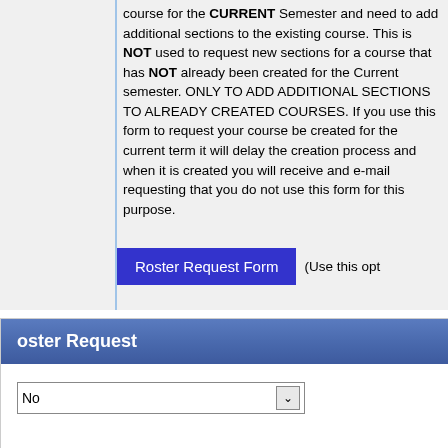This form is used if you already have a course for the CURRENT Semester and need to add additional sections to the existing course. This is NOT used to request new sections for a course that has NOT already been created for the Current semester. ONLY TO ADD ADDITIONAL SECTIONS TO ALREADY CREATED COURSES. If you use this form to request your course be created for the current term it will delay the creation process and when it is created you will receive and e-mail requesting that you do not use this form for this purpose.
[Figure (screenshot): Blue 'Roster Request Form' button followed by text '(Use this opt']
oster Request
No (dropdown selector)